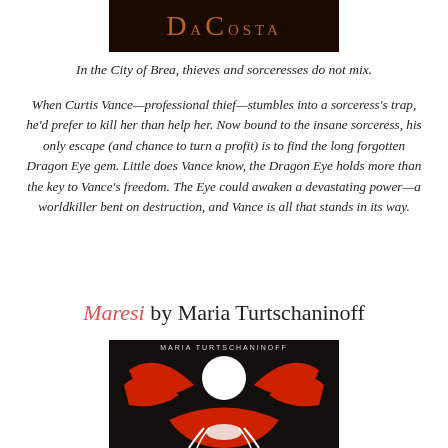[Figure (illustration): Dark banner with 'DaCosta' text in brown/golden serif letters on black background]
In the City of Brea, thieves and sorceresses do not mix.
When Curtis Vance—professional thief—stumbles into a sorceress's trap, he'd prefer to kill her than help her. Now bound to the insane sorceress, his only escape (and chance to turn a profit) is to find the long forgotten Dragon Eye gem. Little does Vance know, the Dragon Eye holds more than the key to Vance's freedom. The Eye could awaken a devastating power—a worldkiller bent on destruction, and Vance is all that stands in its way.
Maresi by Maria Turtschaninoff
[Figure (illustration): Book cover for Maresi by Maria Turtschaninoff — dark background with red birds forming a circle around a white moon, and a figure with long red hair below]